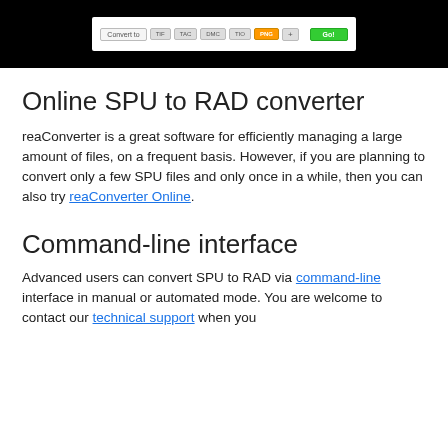[Figure (screenshot): Screenshot of a web-based file converter toolbar on a black background, showing 'Convert to' label, format buttons (TIF, TAC, DMC, TIO), an orange PNG button selected, a '+' button, and a green 'Go!' button.]
Online SPU to RAD converter
reaConverter is a great software for efficiently managing a large amount of files, on a frequent basis. However, if you are planning to convert only a few SPU files and only once in a while, then you can also try reaConverter Online.
Command-line interface
Advanced users can convert SPU to RAD via command-line interface in manual or automated mode. You are welcome to contact our technical support when you